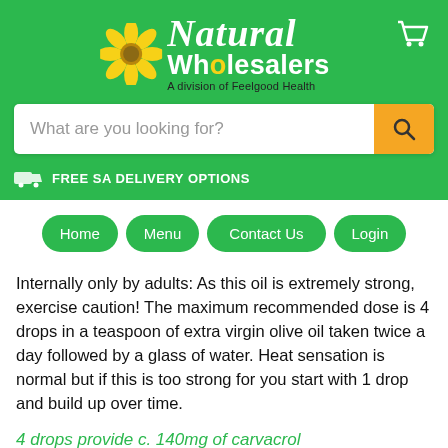[Figure (logo): Natural Wholesalers - A division of Feelgood Health logo with yellow flower, white italic 'Natural' text, 'Wholesalers' with yellow O, shopping cart icon top right]
What are you looking for?
FREE SA DELIVERY OPTIONS
Home
Menu
Contact Us
Login
Internally only by adults: As this oil is extremely strong, exercise caution! The maximum recommended dose is 4 drops in a teaspoon of extra virgin olive oil taken twice a day followed by a glass of water. Heat sensation is normal but if this is too strong for you start with 1 drop and build up over time.
4 drops provide c. 140mg of carvacrol